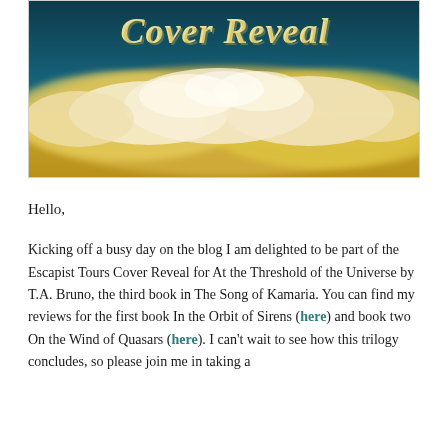[Figure (illustration): Cover reveal banner image with dark teal sky background, golden-yellow clouds, and decorative script text reading 'Cover Reveal' at the top in cream/gold color.]
Hello,
Kicking off a busy day on the blog I am delighted to be part of the Escapist Tours Cover Reveal for At the Threshold of the Universe by T.A. Bruno, the third book in The Song of Kamaria. You can find my reviews for the first book In the Orbit of Sirens (here) and book two On the Wind of Quasars (here). I can't wait to see how this trilogy concludes, so please join me in taking a